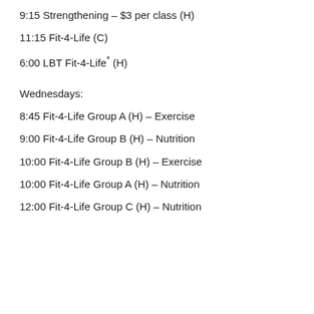9:15 Strengthening – $3 per class (H)
11:15 Fit-4-Life (C)
6:00 LBT Fit-4-Life* (H)
Wednesdays:
8:45 Fit-4-Life Group A (H) – Exercise
9:00 Fit-4-Life Group B (H) – Nutrition
10:00 Fit-4-Life Group B (H) – Exercise
10:00 Fit-4-Life Group A (H) – Nutrition
12:00 Fit-4-Life Group C (H) – Nutrition